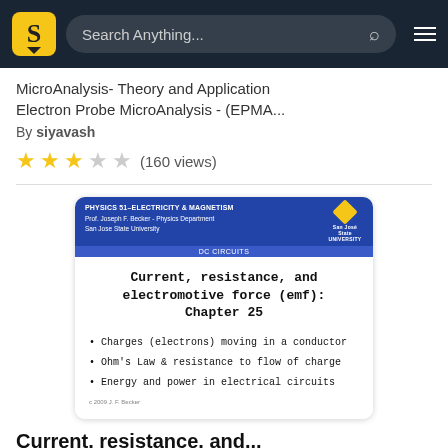Search Anything...
MicroAnalysis- Theory and Application Electron Probe MicroAnalysis - (EPMA...
By siyavash
★★★☆☆ (160 views)
[Figure (screenshot): Slide thumbnail showing a Physics 51 Electricity & Magnetism lecture slide from San Jose State University. Title: Current, resistance, and electromotive force (emf): Chapter 25. Bullets: Charges (electrons) moving in a conductor; Ohm's Law & resistance to flow of charge; Energy and power in electrical circuits.]
Current, resistance, and...
Current, resistance, and electromotive force (emf): Chapter 25. Charges